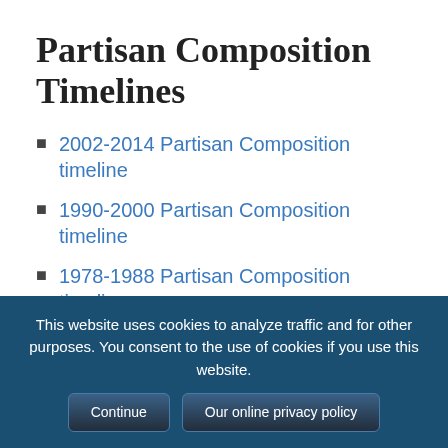Partisan Composition Timelines
2002-2014 Partisan Composition timeline
1990-2000 Partisan Composition timeline
1978-1988 Partisan Composition timeline
Legislative Partisan Composition Table
2021
2020
2019
This website uses cookies to analyze traffic and for other purposes. You consent to the use of cookies if you use this website.